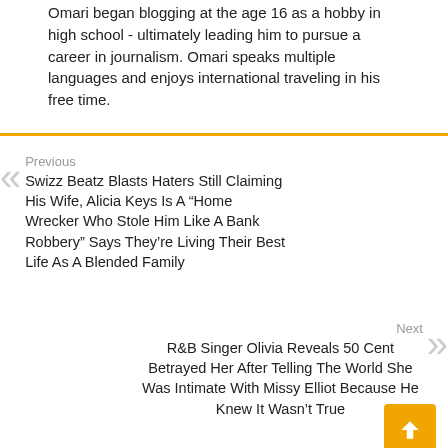Omari began blogging at the age 16 as a hobby in high school - ultimately leading him to pursue a career in journalism. Omari speaks multiple languages and enjoys international traveling in his free time.
Previous
Swizz Beatz Blasts Haters Still Claiming His Wife, Alicia Keys Is A “Home Wrecker Who Stole Him Like A Bank Robbery” Says They’re Living Their Best Life As A Blended Family
Next
R&B Singer Olivia Reveals 50 Cent Betrayed Her After Telling The World She Was Intimate With Missy Elliot Because He Knew It Wasn’t True